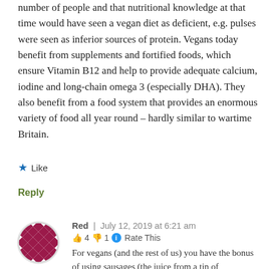number of people and that nutritional knowledge at that time would have seen a vegan diet as deficient, e.g. pulses were seen as inferior sources of protein. Vegans today benefit from supplements and fortified foods, which ensure Vitamin B12 and help to provide adequate calcium, iodine and long-chain omega 3 (especially DHA). They also benefit from a food system that provides an enormous variety of food all year round – hardly similar to wartime Britain.
★ Like
Reply
[Figure (illustration): Circular avatar with red and white diamond/checkerboard pattern]
Red | July 12, 2019 at 6:21 am
👍 4 👎 1 ℹ Rate This
For vegans (and the rest of us) you have the bonus of using sausages (the juice from a tin of